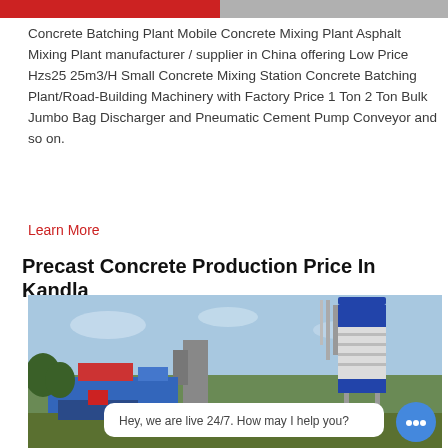Concrete Batching Plant Mobile Concrete Mixing Plant Asphalt Mixing Plant manufacturer / supplier in China offering Low Price Hzs25 25m3/H Small Concrete Mixing Station Concrete Batching Plant/Road-Building Machinery with Factory Price 1 Ton 2 Ton Bulk Jumbo Bag Discharger and Pneumatic Cement Pump Conveyor and so on.
Learn More
Precast Concrete Production Price In Kandla
[Figure (photo): Photo of a concrete batching plant with a large blue-and-white cylindrical silo tower on the right side, industrial plant equipment in the foreground, blue sky with light clouds in the background, and green trees/terrain visible. A white chat bubble overlay reads 'Hey, we are live 24/7. How may I help you?' with a blue chat icon button to the right.]